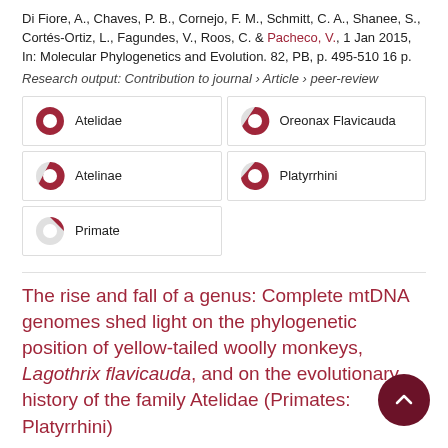Di Fiore, A., Chaves, P. B., Cornejo, F. M., Schmitt, C. A., Shanee, S., Cortés-Ortiz, L., Fagundes, V., Roos, C. & Pacheco, V., 1 Jan 2015, In: Molecular Phylogenetics and Evolution. 82, PB, p. 495-510 16 p.
Research output: Contribution to journal › Article › peer-review
100% Atelidae
94% Oreonax Flavicauda
91% Atelinae
76% Platyrrhini
51% Primate
The rise and fall of a genus: Complete mtDNA genomes shed light on the phylogenetic position of yellow-tailed woolly monkeys, Lagothrix flavicauda, and on the evolutionary history of the family Atelidae (Primates: Platyrrhini)
Di Fiore, A., Chaves, P. B., Cornejo, F. M., Schmitt, C. A., Shanee, S., Cortés-Ortiz, L., Fagundes, V., Roos, C. & Pacheco, V., 2015, In: Molecular Phylogenetics and Evolution. 82, PB, p. 495-510 16 p.